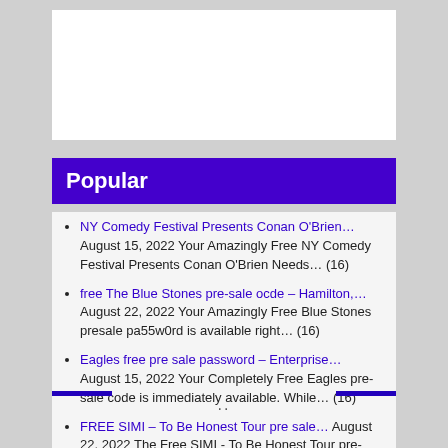Popular
NY Comedy Festival Presents Conan O'Brien… August 15, 2022 Your Amazingly Free NY Comedy Festival Presents Conan O'Brien Needs… (16)
free The Blue Stones pre-sale ocde – Hamilton,… August 22, 2022 Your Amazingly Free Blue Stones presale pa55w0rd is available right… (16)
Eagles free pre sale password – Enterprise… August 15, 2022 Your Completely Free Eagles pre-sale code is immediately available. While… (16)
FREE SIMI – To Be Honest Tour pre sale… August 22, 2022 The Free SIMI - To Be Honest Tour pre-